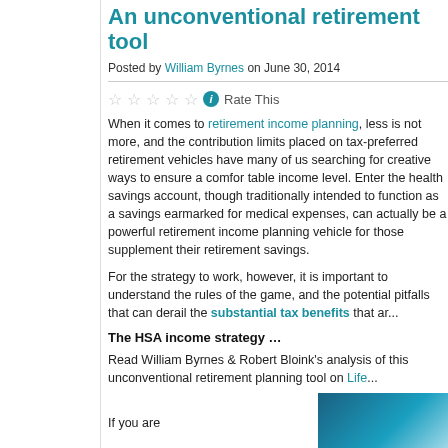An unconventional retirement tool
Posted by William Byrnes on June 30, 2014
Rate This
When it comes to retirement income planning, less is not more, and the contribution limits placed on tax-preferred retirement vehicles have many of us searching for creative ways to ensure a comfortable income level. Enter the health savings account, which though traditionally intended to function as a savings earmarked for medical expenses, can actually be a powerful retirement income planning vehicle for those supplement their retirement savings.
For the strategy to work, however, it is important to understand the rules of the game, and the potential pitfalls that can derail the substantial tax benefits that are...
The HSA income strategy …
Read William Byrnes & Robert Bloink's analysis of this unconventional retirement planning tool on Life...
If you are
[Figure (photo): Teal/blue gradient promotional image in bottom right corner]